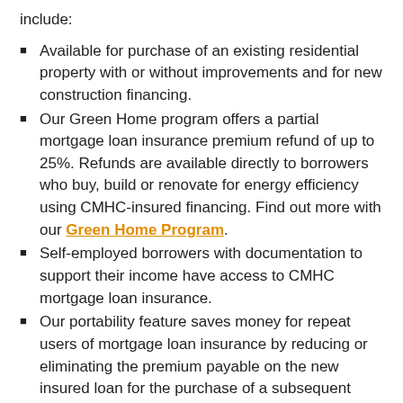include:
Available for purchase of an existing residential property with or without improvements and for new construction financing.
Our Green Home program offers a partial mortgage loan insurance premium refund of up to 25%. Refunds are available directly to borrowers who buy, build or renovate for energy efficiency using CMHC-insured financing. Find out more with our Green Home Program.
Self-employed borrowers with documentation to support their income have access to CMHC mortgage loan insurance.
Our portability feature saves money for repeat users of mortgage loan insurance by reducing or eliminating the premium payable on the new insured loan for the purchase of a subsequent home.